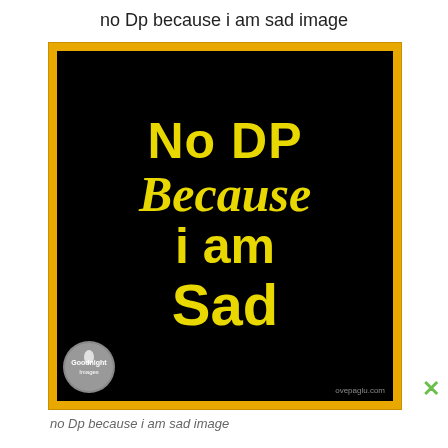no Dp because i am sad image
[Figure (illustration): Black background image with yellow bold text reading 'No DP Because i am Sad', with a yellow-gold border frame and a small circular Goodnight Images logo in the bottom left corner]
no Dp because i am sad image